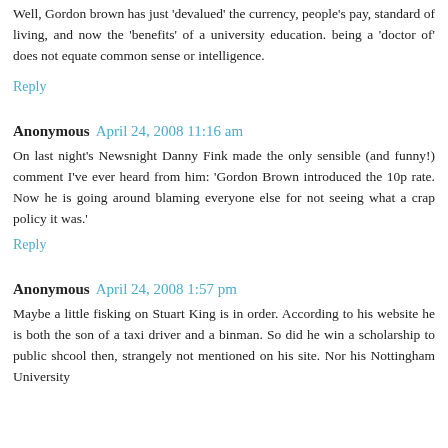Well, Gordon brown has just 'devalued' the currency, people's pay, standard of living, and now the 'benefits' of a university education. being a 'doctor of' does not equate common sense or intelligence.
Reply
Anonymous April 24, 2008 11:16 am
On last night's Newsnight Danny Fink made the only sensible (and funny!) comment I've ever heard from him: 'Gordon Brown introduced the 10p rate. Now he is going around blaming everyone else for not seeing what a crap policy it was.'
Reply
Anonymous April 24, 2008 1:57 pm
Maybe a little fisking on Stuart King is in order. According to his website he is both the son of a taxi driver and a binman. So did he win a scholarship to public shcool then, strangely not mentioned on his site. Nor his Nottingham University